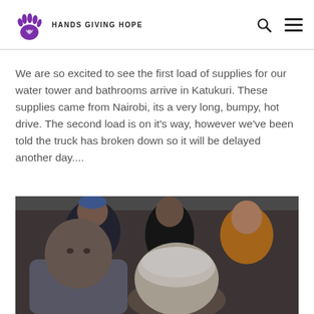HANDS GIVING HOPE
We are so excited to see the first load of supplies for our water tower and bathrooms arrive in Katukuri. These supplies came from Nairobi, its a very long, bumpy, hot drive. The second load is on it's way, however we've been told the truck has broken down so it will be delayed another day....
[Figure (photo): A crowd of people seated, including a man in a grey hoodie in the foreground and a person with white hair, and a man in an orange shirt in the background.]